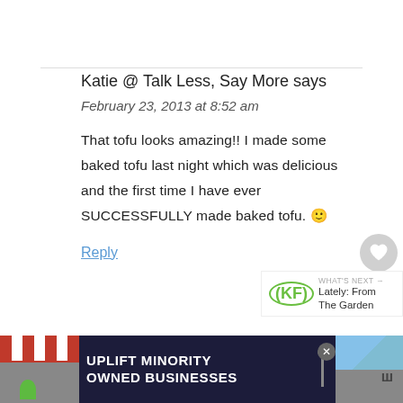Katie @ Talk Less, Say More says
February 23, 2013 at 8:52 am
That tofu looks amazing!! I made some baked tofu last night which was delicious and the first time I have ever SUCCESSFULLY made baked tofu. 🙂
Reply
[Figure (infographic): Ad banner: UPLIFT MINORITY OWNED BUSINESSES with store illustrations]
[Figure (other): What's Next widget: KF logo, Lately: From The Garden]
[Figure (other): Sidebar heart and share icon buttons]